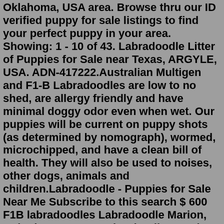Oklahoma, USA area. Browse thru our ID verified puppy for sale listings to find your perfect puppy in your area. Showing: 1 - 10 of 43. Labradoodle Litter of Puppies for Sale near Texas, ARGYLE, USA. ADN-417222.Australian Multigen and F1-B Labradoodles are low to no shed, are allergy friendly and have minimal doggy odor even when wet. Our puppies will be current on puppy shots (as determined by nomograph), wormed, microchipped, and have a clean bill of health. They will also be used to noises, other dogs, animals and children.Labradoodle - Puppies for Sale Near Me Subscribe to this search $ 600 F1B labradoodles Labradoodle Marion, United States F1B Labradoodle Puppies Standard Size born 5/2/22, ready for their forever homes. Vet checked, dewormed and vaccinated. Mother is a CKC regi... June 25, 2022 View more $ 550 labradoodle puppy Kona Litter Litter DOB: 5/7/2022. Chocolate Labradoodle Puppies. 3 males and 3 females. 1/2 Labrador 1/2 Std. Poodle. All Reserved. Expected Size 50-60 lbs. Ready July 1st, 2022 for forever homes. See